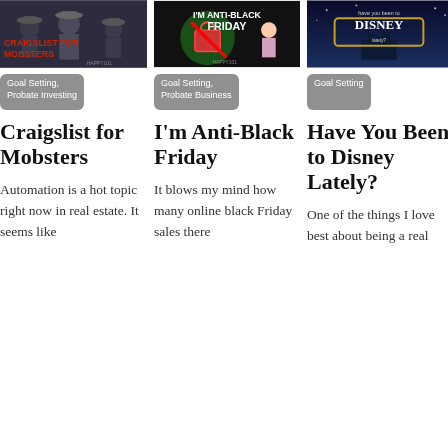[Figure (photo): Thumbnail image for Craigslist for Mobsters post showing men in suits with fedoras, red text overlay]
Goal Setting, Probate Investing
Craigslist for Mobsters
Automation is a hot topic right now in real estate. It seems like
[Figure (photo): Thumbnail image for I'm Anti-Black Friday post with shopping bag and text overlay]
Goal Setting, Probate Business
I'm Anti-Black Friday
It blows my mind how many online black Friday sales there
[Figure (photo): Thumbnail image for Have You Been to Disney Lately post with Disney logo on dark blue background]
Goal Setting
Have You Been to Disney Lately?
One of the things I love best about being a real